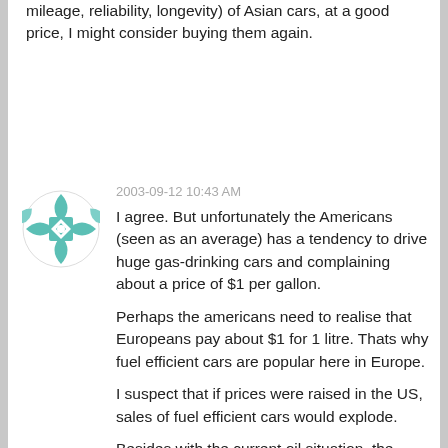mileage, reliability, longevity) of Asian cars, at a good price, I might consider buying them again.
2003-09-12 10:43 AM
[Figure (illustration): Circular avatar icon with teal/green geometric quilt-like pattern on white background]
I agree. But unfortunately the Americans (seen as an average) has a tendency to drive huge gas-drinking cars and complaining about a price of $1 per gallon.

Perhaps the americans need to realise that Europeans pay about $1 for 1 litre. Thats why fuel efficient cars are popular here in Europe.

I suspect that if prices were raised in the US, sales of fuel efficient cars would explode.

Besides with the current oil situation, the americans will have to wake up and smell the roses. Prices will go up eventually.

Well, I am gonna stop here before turning it